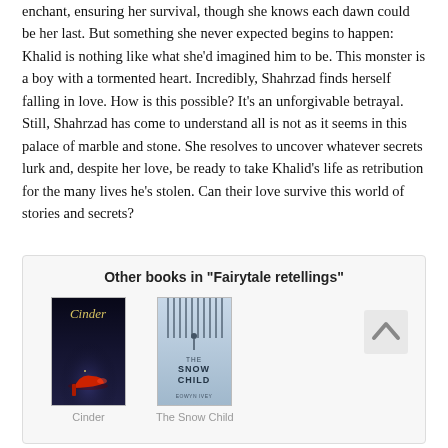enchant, ensuring her survival, though she knows each dawn could be her last. But something she never expected begins to happen: Khalid is nothing like what she'd imagined him to be. This monster is a boy with a tormented heart. Incredibly, Shahrzad finds herself falling in love. How is this possible? It's an unforgivable betrayal. Still, Shahrzad has come to understand all is not as it seems in this palace of marble and stone. She resolves to uncover whatever secrets lurk and, despite her love, be ready to take Khalid’s life as retribution for the many lives he's stolen. Can their love survive this world of stories and secrets?
Other books in "Fairytale retellings"
[Figure (illustration): Book cover of Cinder - dark background with red high heel shoe, title in gold italic font]
[Figure (illustration): Book cover of The Snow Child - pale blue/grey wintry cover with vertical lines and text]
Cinder
The Snow Child